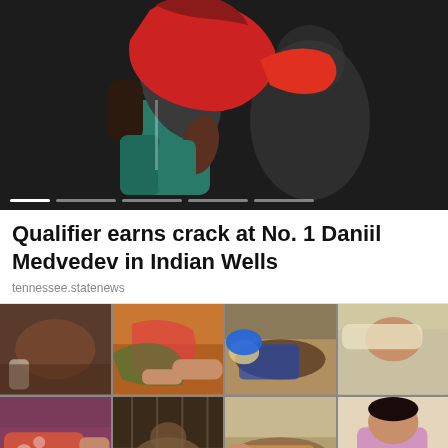[Figure (photo): Sports photo showing a tennis or sports player in a red and teal outfit, bending forward, with another person in the background. Dark background.]
Qualifier earns crack at No. 1 Daniil Medvedev in Indian Wells
tennessee.statenews
[Figure (photo): Grid of multiple photos showing various scenes of people lying down or resting, appearing to be in distress or sleeping on floors/mats.]